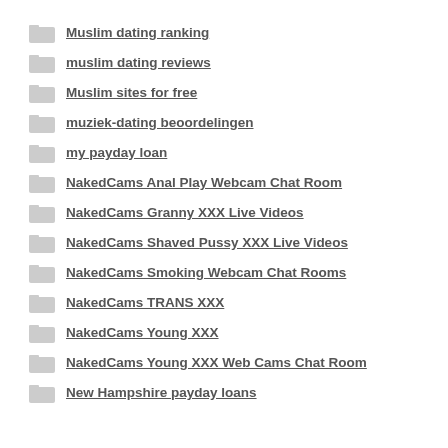Muslim dating ranking
muslim dating reviews
Muslim sites for free
muziek-dating beoordelingen
my payday loan
NakedCams Anal Play Webcam Chat Room
NakedCams Granny XXX Live Videos
NakedCams Shaved Pussy XXX Live Videos
NakedCams Smoking Webcam Chat Rooms
NakedCams TRANS XXX
NakedCams Young XXX
NakedCams Young XXX Web Cams Chat Room
New Hampshire payday loans